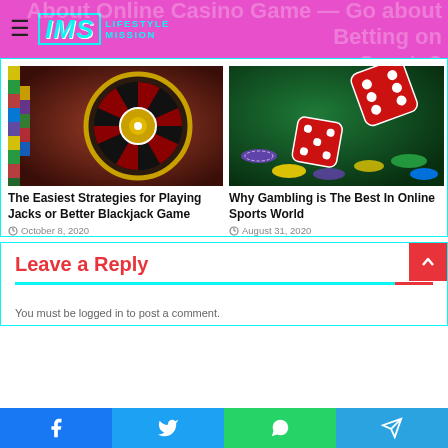IMS LIFESTYLEMISSION
[Figure (photo): Roulette wheel with colorful casino chips on a red table]
The Easiest Strategies for Playing Jacks or Better Blackjack Game
October 8, 2020
[Figure (photo): Red dice and colorful casino chips flying over a green casino table]
Why Gambling is The Best In Online Sports World
August 31, 2020
Leave a Reply
You must be logged in to post a comment.